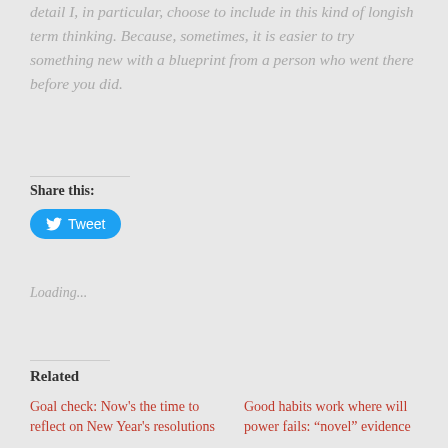detail I, in particular, choose to include in this kind of longish term thinking. Because, sometimes, it is easier to try something new with a blueprint from a person who went there before you did.
Share this:
[Figure (other): Blue Twitter Tweet button with bird icon]
Loading...
Related
Goal check: Now's the time to reflect on New Year's resolutions
2021-06-26
In "You might find this helpful"
Good habits work where will power fails: “novel” evidence
2021-07-14
In "writing"